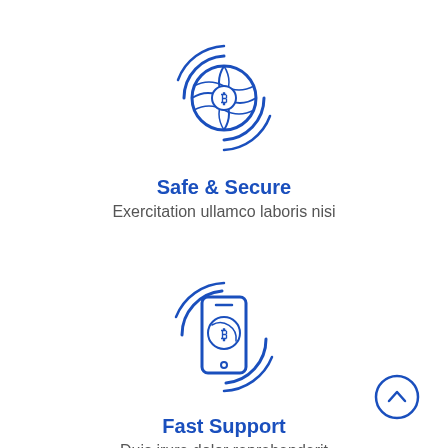[Figure (illustration): Blue outline icon of a globe with Bitcoin symbol in center, surrounded by circular arc lines suggesting security/network]
Safe & Secure
Exercitation ullamco laboris nisi
[Figure (illustration): Blue outline icon of a smartphone with Bitcoin symbol on screen, surrounded by circular arc lines suggesting mobile support]
Fast Support
Duis irure dolor reprehenderit
[Figure (illustration): Back to top button: circle with upward chevron arrow in blue outline style]